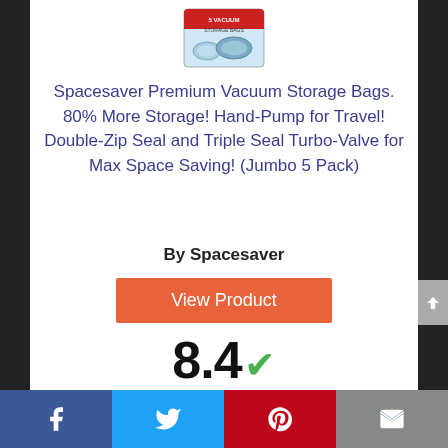[Figure (photo): Product photo of Spacesaver Premium Vacuum Storage Bags (Jumbo 5 Pack) packaging]
Spacesaver Premium Vacuum Storage Bags. 80% More Storage! Hand-Pump for Travel! Double-Zip Seal and Triple Seal Turbo-Valve for Max Space Saving! (Jumbo 5 Pack)
By Spacesaver
View Product
8.4 Score